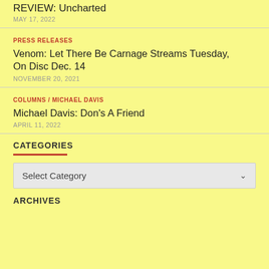REVIEW: Uncharted
MAY 17, 2022
PRESS RELEASES
Venom: Let There Be Carnage Streams Tuesday, On Disc Dec. 14
NOVEMBER 20, 2021
COLUMNS / MICHAEL DAVIS
Michael Davis: Don's A Friend
APRIL 11, 2022
CATEGORIES
ARCHIVES